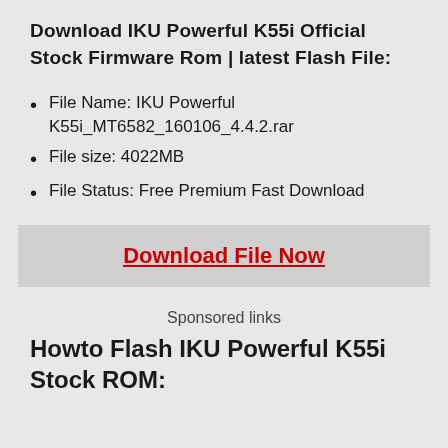Download IKU Powerful K55i Official Stock Firmware Rom | latest Flash File:
File Name: IKU Powerful K55i_MT6582_160106_4.4.2.rar
File size: 4022MB
File Status: Free Premium Fast Download
Download File Now
Sponsored links
Howto Flash IKU Powerful K55i Stock ROM: